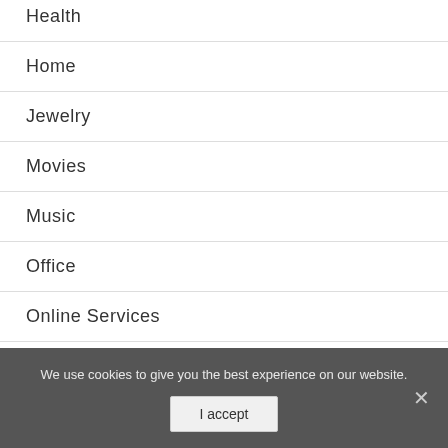Health
Home
Jewelry
Movies
Music
Office
Online Services
Pet Supplies
Shoes
Software
S...
We use cookies to give you the best experience on our website.
I accept